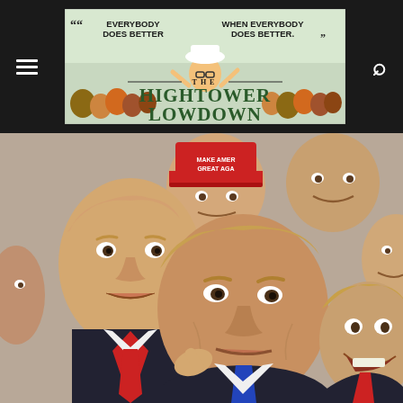[Figure (other): Website header bar for The Hightower Lowdown with hamburger menu icon on left, publication banner/logo in center showing 'The Hightower Lowdown' with quote marks and tagline 'Everybody Does Better When Everybody Does Better', and search icon on right, all on dark background]
[Figure (photo): Photo collage of multiple images of Donald Trump showing various facial expressions and poses, including one wearing a red MAGA (Make America Great Again) hat, arranged in a crowded overlapping composition. Trump is shown in suits with red and blue ties.]